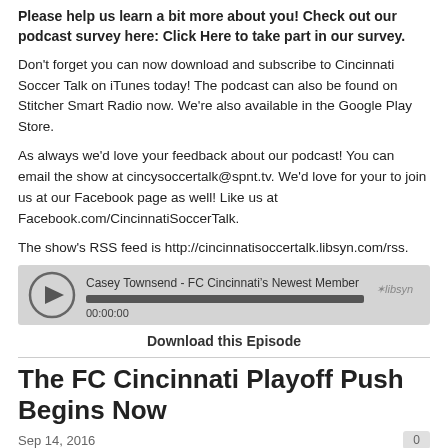Please help us learn a bit more about you! Check out our podcast survey here: Click Here to take part in our survey.
Don't forget you can now download and subscribe to Cincinnati Soccer Talk on iTunes today! The podcast can also be found on Stitcher Smart Radio now. We're also available in the Google Play Store.
As always we'd love your feedback about our podcast! You can email the show at cincysoccertalk@spnt.tv. We'd love for your to join us at our Facebook page as well! Like us at Facebook.com/CincinnatiSoccerTalk.
The show's RSS feed is http://cincinnatisoccertalk.libsyn.com/rss.
[Figure (other): Podcast audio player widget for 'Casey Townsend - FC Cincinnati's Newest Member', showing play button, progress bar, timestamp 00:00:00, and libsyn logo]
Download this Episode
The FC Cincinnati Playoff Push Begins Now
Sep 14, 2016
FC Cincinnati went to North Carolina over the weekend and came home with 3 points and a clean sheet. Despite that close scoreline, you can argue that the match was...